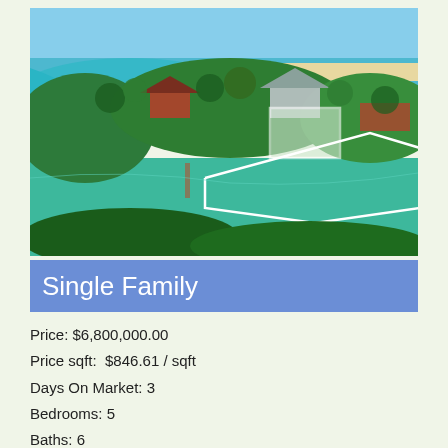[Figure (photo): Aerial view of a waterfront property on a peninsula surrounded by turquoise water and green vegetation, with a white property boundary outlined on a house with screened enclosure, ocean/beach visible in the background.]
Single Family
Price: $6,800,000.00
Price sqft:  $846.61 / sqft
Days On Market: 3
Bedrooms: 5
Baths: 6
Garage / Parking Spaces: 2
Bldg sqft: 8032